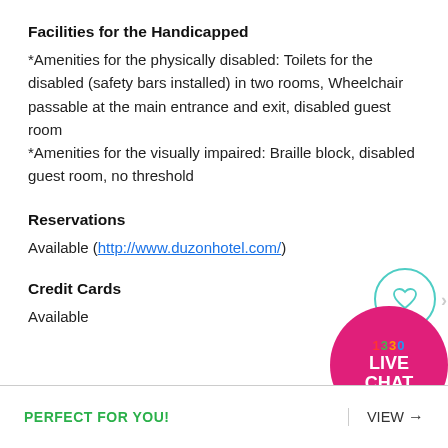Facilities for the Handicapped
*Amenities for the physically disabled: Toilets for the disabled (safety bars installed) in two rooms, Wheelchair passable at the main entrance and exit, disabled guest room
*Amenities for the visually impaired: Braille block, disabled guest room, no threshold
Reservations
Available (http://www.duzonhotel.com/)
Credit Cards
Available
[Figure (infographic): Live chat widget with heart icon in teal circle and pink circular badge saying '1330 LIVE CHAT']
PERFECT FOR YOU!    VIEW →